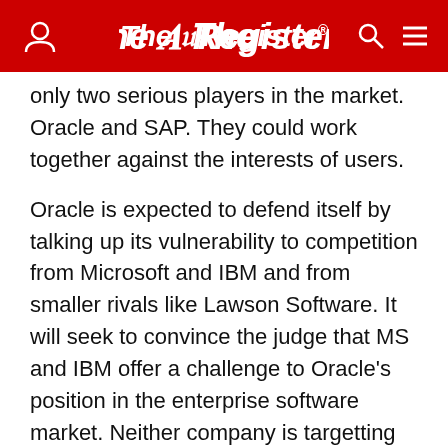The Register
only two serious players in the market. Oracle and SAP. They could work together against the interests of users.
Oracle is expected to defend itself by talking up its vulnerability to competition from Microsoft and IBM and from smaller rivals like Lawson Software. It will seek to convince the judge that MS and IBM offer a challenge to Oracle's position in the enterprise software market. Neither company is targetting such customers at the moment but Oracle is expected to claim they will in future. Its other strategy would be to persuade the court that the DoJ has defined the market too narrowly.
[Figure (logo): The Register logo on dark red background - advertisement banner]